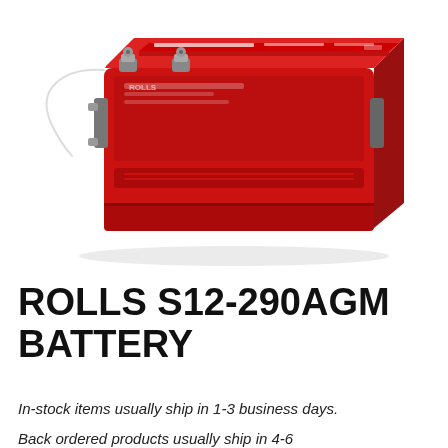[Figure (photo): Red Rolls S12-290AGM battery, a large rectangular red battery with terminal connectors and cables on the left side, metal handles, and a label on top. The battery is photographed at a slight angle showing the top and front face.]
ROLLS S12-290AGM BATTERY
In-stock items usually ship in 1-3 business days.
Back ordered products usually ship in 4-6